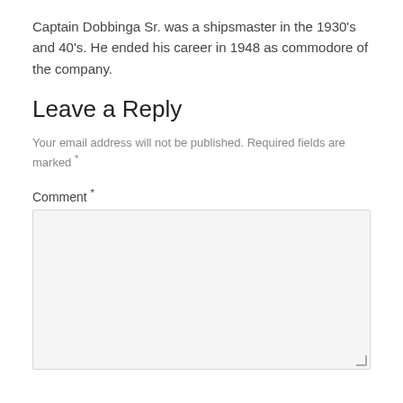Captain Dobbinga Sr. was a shipsmaster in the 1930's and 40's. He ended his career in 1948 as commodore of the company.
Leave a Reply
Your email address will not be published. Required fields are marked *
Comment *